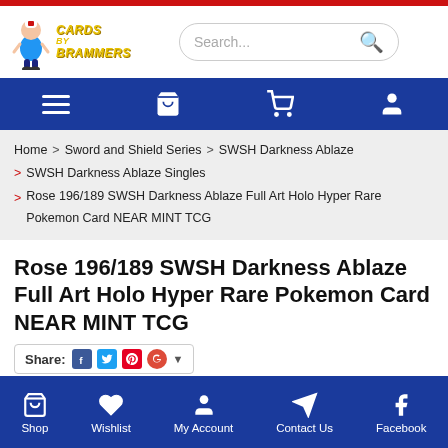Cards by Brammers — website header with logo and search bar
Navigation bar: menu, bag, cart, account icons
Home > Sword and Shield Series > SWSH Darkness Ablaze > SWSH Darkness Ablaze Singles > Rose 196/189 SWSH Darkness Ablaze Full Art Holo Hyper Rare Pokemon Card NEAR MINT TCG
Rose 196/189 SWSH Darkness Ablaze Full Art Holo Hyper Rare Pokemon Card NEAR MINT TCG
Share: [social icons]
$14.95
Shop | Wishlist | My Account | Contact Us | Facebook